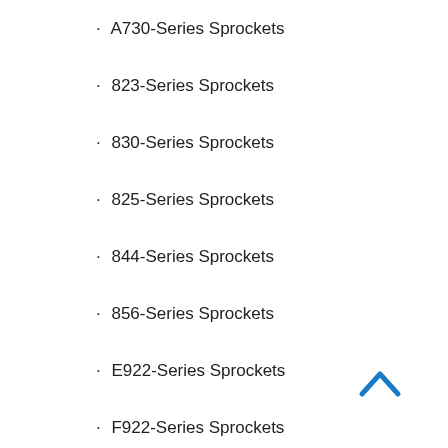A730-Series Sprockets
823-Series Sprockets
830-Series Sprockets
825-Series Sprockets
844-Series Sprockets
856-Series Sprockets
E922-Series Sprockets
F922-Series Sprockets
F933-Series Sprockets
951-Series Sprockets
B963R-Series Sprockets
D963R-Series Sprockets
E963R-Series Sprockets
F963R-Series Sprockets